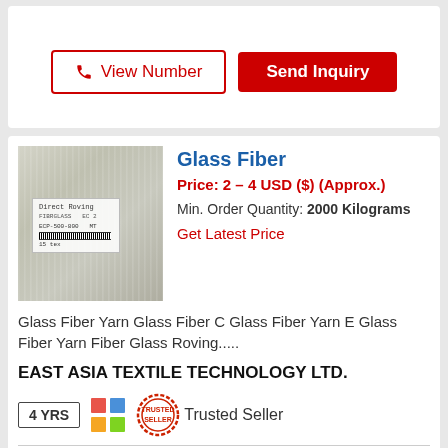View Number
Send Inquiry
Glass Fiber
Price: 2 – 4 USD ($) (Approx.)
Min. Order Quantity: 2000 Kilograms
Get Latest Price
[Figure (photo): Glass fiber roving rolls, white/off-white color, with a product label showing text and barcode]
Glass Fiber Yarn Glass Fiber C Glass Fiber Yarn E Glass Fiber Yarn Fiber Glass Roving.....
EAST ASIA TEXTILE TECHNOLOGY LTD.
4 YRS
Trusted Seller
Shanghai, China ...More